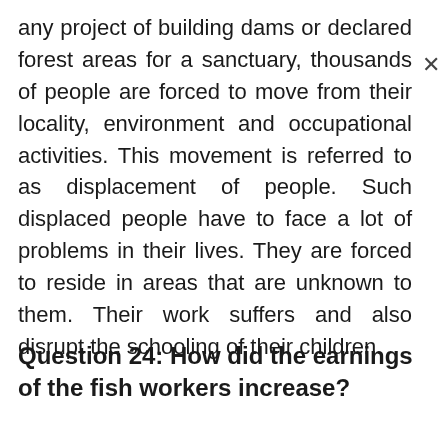any project of building dams or declared forest areas for a sanctuary, thousands of people are forced to move from their locality, environment and occupational activities. This movement is referred to as displacement of people. Such displaced people have to face a lot of problems in their lives. They are forced to reside in areas that are unknown to them. Their work suffers and also disrupt the schooling of their children.
Question 24: How did the earnings of the fish workers increase?